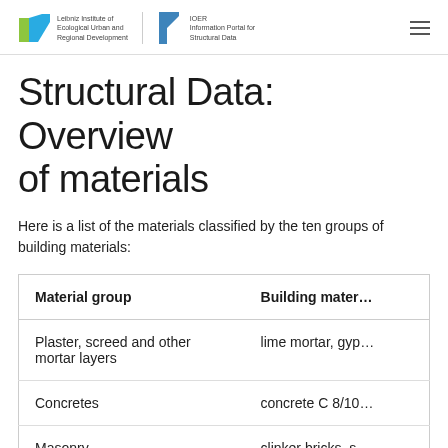Leibniz Institute of Ecological Urban and Regional Development | IOER Information Portal for Structural Data
Structural Data: Overview of materials
Here is a list of the materials classified by the ten groups of building materials:
| Material group | Building materials |
| --- | --- |
| Plaster, screed and other mortar layers | lime mortar, gyp… |
| Concretes | concrete C 8/10… |
| Masonry | clinker bricks, s… |